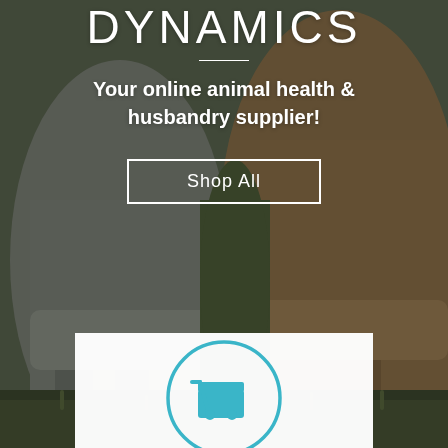[Figure (photo): Background photo of alpacas/llamas legs and bodies in a field, muted grey-green tones]
DYNAMICS
Your online animal health & husbandry supplier!
Shop All
[Figure (illustration): Shopping cart icon inside a teal/cyan circle, on white panel background]